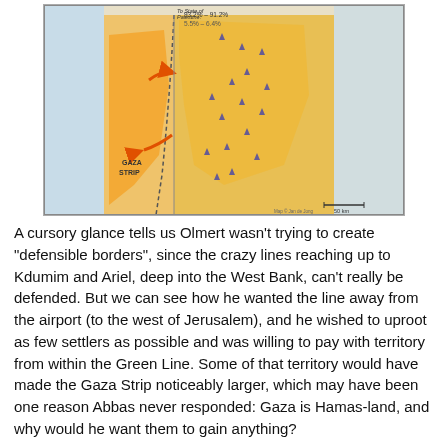[Figure (map): A map showing proposed territorial boundaries related to the West Bank, Gaza Strip, and surrounding areas. The map shows yellow/orange shaded regions indicating proposed Palestinian state territory, with dashed boundary lines. Labels include Gaza Strip, West Bank settlements, and percentage annotations (93.2%–91.2% and 5.5%–6.4%) indicating land allocation to State of Palestine. Orange arrows indicate territorial swaps.]
A cursory glance tells us Olmert wasn't trying to create "defensible borders", since the crazy lines reaching up to Kdumim and Ariel, deep into the West Bank, can't really be defended. But we can see how he wanted the line away from the airport (to the west of Jerusalem), and he wished to uproot as few settlers as possible and was willing to pay with territory from within the Green Line. Some of that territory would have made the Gaza Strip noticeably larger, which may have been one reason Abbas never responded: Gaza is Hamas-land, and why would he want them to gain anything?
Finally, here's the line proposed by the Israelis and